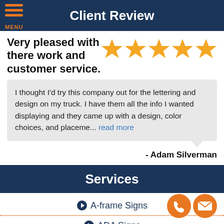Client Review
Very pleased with there work and customer service.
I thought I'd try this company out for the lettering and design on my truck. I have them all the info I wanted displaying and they came up with a design, color choices, and placeme... read more
- Adam Silverman
Services
A-frame Signs
ADA Signs